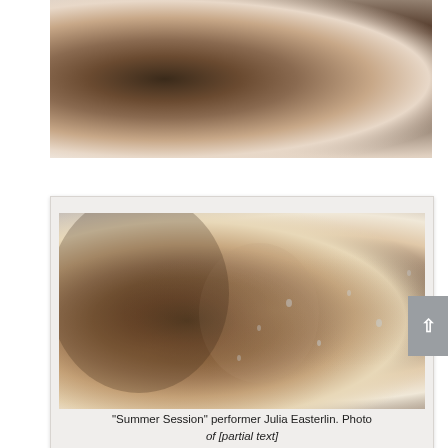[Figure (photo): Close-up photo of a person's hands touching wet hair, shot from above against a light background — partial view cropped at top of page]
[Figure (photo): Photo of a young woman with closed eyes and wet hair pressing her hand against a glass surface, raindrops visible, dramatic lighting — performer Julia Easterlin in 'Summer Session']
“Summer Session” performer Julia Easterlin. Photo of [partial text cut off]